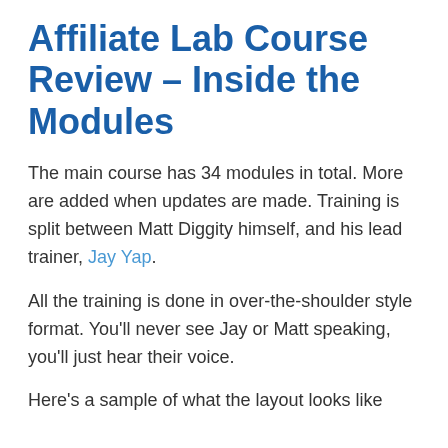Affiliate Lab Course Review – Inside the Modules
The main course has 34 modules in total. More are added when updates are made. Training is split between Matt Diggity himself, and his lead trainer, Jay Yap.
All the training is done in over-the-shoulder style format. You'll never see Jay or Matt speaking, you'll just hear their voice.
Here's a sample of what the layout looks like